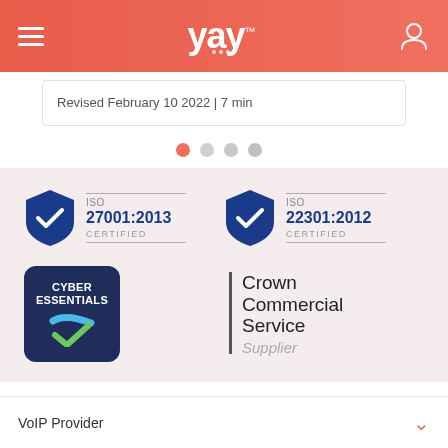yay
Revised February 10 2022 | 7 min
[Figure (infographic): Pagination dots indicator with first dot active (coral/red), three others inactive (grey)]
[Figure (infographic): ISO 27001:2013 Certified badge with blue shield and checkmark, ISO 22301:2012 Certified badge with blue shield and checkmark, Cyber Essentials badge with dark navy background and checkmark, Crown Commercial Service Supplier logo with vertical bar]
VoIP Provider